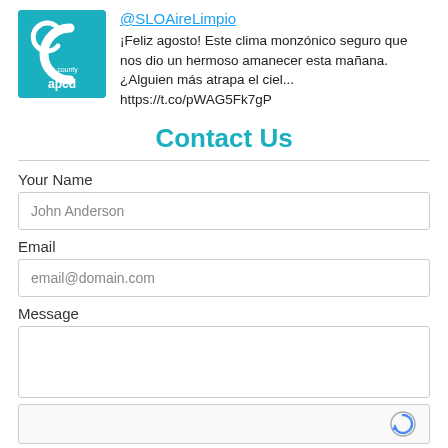[Figure (logo): SLO County APCD teal logo with stylized C and text 'slo county apcd']
@SLOAireLimpio
¡Feliz agosto! Este clima monzónico seguro que nos dio un hermoso amanecer esta mañana. ¿Alguien más atrapa el ciel... https://t.co/pWAG5Fk7gP
Contact Us
Your Name
John Anderson
Email
email@domain.com
Message
[Figure (other): reCAPTCHA widget with checkbox and logo]